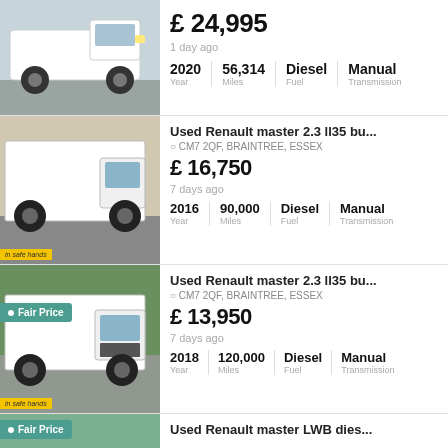[Figure (photo): White van (Renault Master) parked, front-right angle view]
£ 24,995
1 day ago
2020 | 56,314 | Diesel | Manual
Year | Miles | Fuel | Transmission
[Figure (photo): White Renault Master luton/box van, side-front angle]
Used Renault master 2.3 ll35 bu...
CM7 2QF, BRAINTREE, ESSEX
£ 16,750
7 days ago
2016 | 90,000 | Diesel | Manual
Year | Miles | Fuel | Transmission
[Figure (photo): White Renault Master luton van with Fair Price badge, front-right angle]
Used Renault master 2.3 ll35 bu...
CM7 2QF, BRAINTREE, ESSEX
£ 13,950
7 days ago
2018 | 120,000 | Diesel | Manual
Year | Miles | Fuel | Transmission
[Figure (photo): Partial view of van with Fair Price badge at bottom of page]
Used Renault master LWB dies...